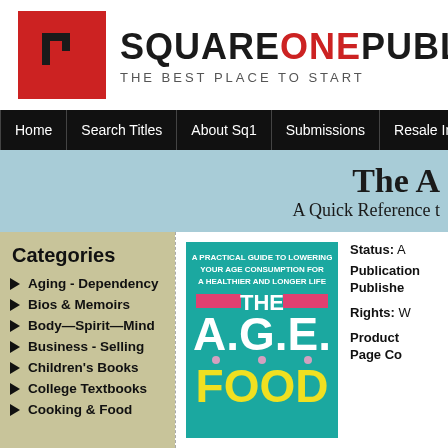[Figure (logo): Square One Publishers logo with red square icon and brand name]
Home | Search Titles | About Sq1 | Submissions | Resale Info
The A.G.E. Food Guide
A Quick Reference t...
Categories
Aging - Dependency
Bios & Memoirs
Body—Spirit—Mind
Business - Selling
Children's Books
College Textbooks
Cooking & Food
[Figure (photo): Book cover of The A.G.E. Food Guide - teal background with title text and subtitle: A Practical Guide to Lowering Your Age Consumption for a Healthier and Longer Life]
Status: A...
Publication...
Publishe...

Rights: W...

Product...
Page Co...